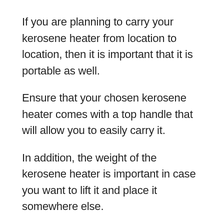If you are planning to carry your kerosene heater from location to location, then it is important that it is portable as well.
Ensure that your chosen kerosene heater comes with a top handle that will allow you to easily carry it.
In addition, the weight of the kerosene heater is important in case you want to lift it and place it somewhere else.
There are also a few models that have wheels at the rear. This will allow you to easily transport the heater anywhere you want.